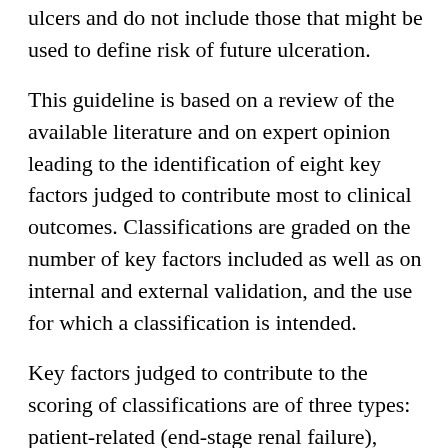ulcers and do not include those that might be used to define risk of future ulceration.
This guideline is based on a review of the available literature and on expert opinion leading to the identification of eight key factors judged to contribute most to clinical outcomes. Classifications are graded on the number of key factors included as well as on internal and external validation, and the use for which a classification is intended.
Key factors judged to contribute to the scoring of classifications are of three types: patient-related (end-stage renal failure), limb-related (peripheral artery disease and loss of protective sensation) and ulcer- related (area, depth, site, single or multiple and infection). Particular systems considered for each of the following five clinical situations: (i) communication among